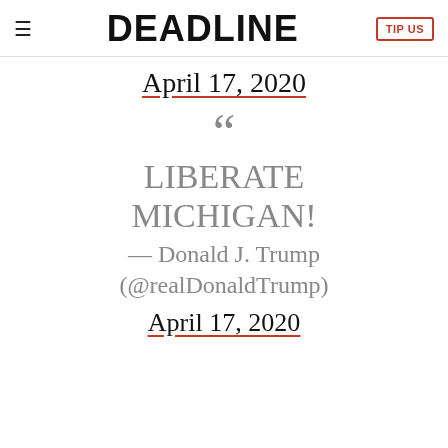DEADLINE | TIP US
April 17, 2020
“ LIBERATE MICHIGAN! — Donald J. Trump (@realDonaldTrump) April 17, 2020